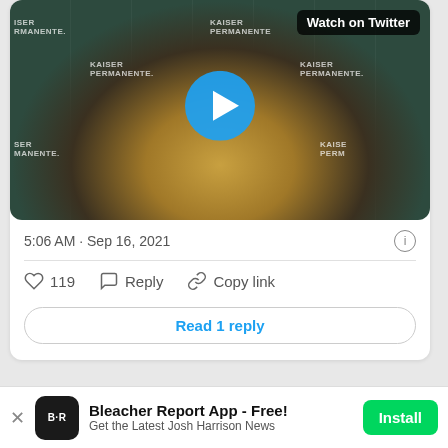[Figure (screenshot): Twitter/social media post screenshot showing a video thumbnail of a man in a yellow shirt at an Oakland Athletics press conference with Kaiser Permanente backdrop. A blue play button is centered on the video. 'Watch on Twitter' badge appears in top right corner of video.]
5:06 AM · Sep 16, 2021
119  Reply  Copy link
Read 1 reply
Bleacher Report App - Free!
Get the Latest Josh Harrison News